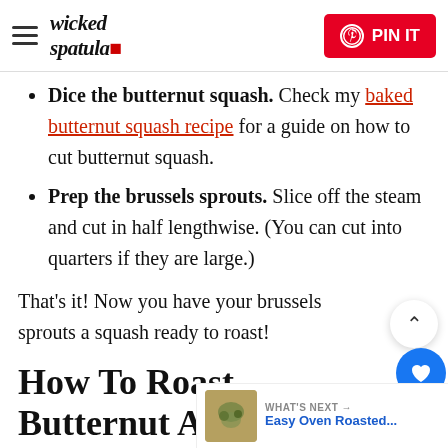wicked spatula | PIN IT
Dice the butternut squash. Check my baked butternut squash recipe for a guide on how to cut butternut squash.
Prep the brussels sprouts. Slice off the steam and cut in half lengthwise. (You can cut into quarters if they are large.)
That's it! Now you have your brussels sprouts and squash ready to roast!
How To Roast Butternut And Brussels Sprouts